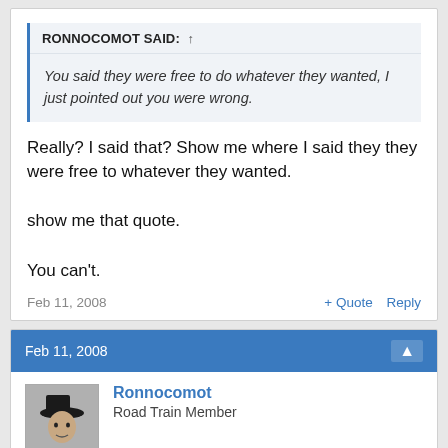RONNOCOMOT SAID: ↑
You said they were free to do whatever they wanted, I just pointed out you were wrong.
Really? I said that? Show me where I said they they were free to whatever they wanted.

show me that quote.

You can't.
Feb 11, 2008
+ Quote   Reply
Feb 11, 2008
Ronnocomot
Road Train Member